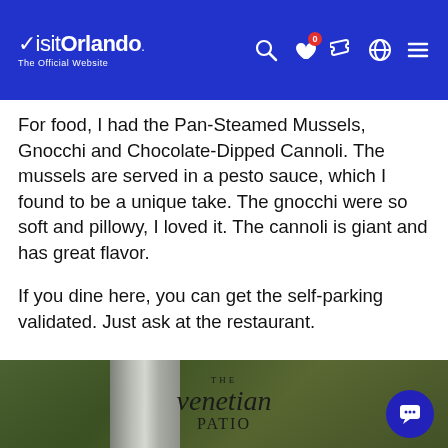VisitOrlando - The Official Website
For food, I had the Pan-Steamed Mussels, Gnocchi and Chocolate-Dipped Cannoli. The mussels are served in a pesto sauce, which I found to be a unique take. The gnocchi were so soft and pillowy, I loved it. The cannoli is giant and has great flavor.
If you dine here, you can get the self-parking validated. Just ask at the restaurant.
[Figure (photo): Photo of The Venetian Patio restaurant signage on a metallic surface with green tropical foliage in the background. Text reads THE venetian PATIO.]